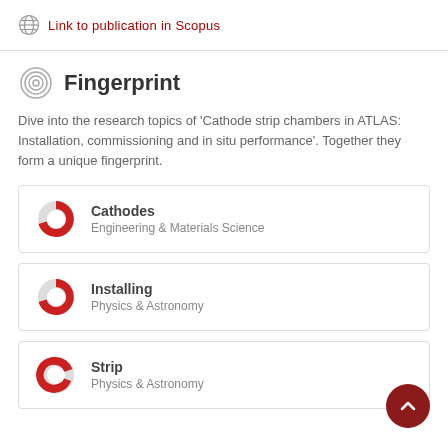Link to publication in Scopus
Fingerprint
Dive into the research topics of 'Cathode strip chambers in ATLAS: Installation, commissioning and in situ performance'. Together they form a unique fingerprint.
Cathodes
Engineering & Materials Science
Installing
Physics & Astronomy
Strip
Physics & Astronomy